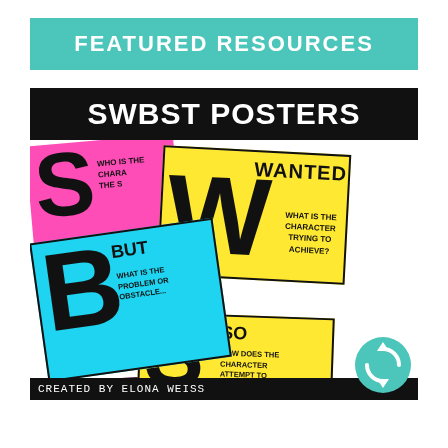FEATURED RESOURCES
[Figure (illustration): SWBST Posters educational resource collage showing colorful posters with letters S, W, B, S, T representing Somebody Wanted But So Then reading comprehension strategy. Poster colors are pink, yellow, cyan/teal. Text on posters includes: WHO IS THE CHARACTER, CHARA THE S, WANTED, WHAT IS THE CHARACTER TRYING TO ACHIEVE?, BUT, WHAT IS THE PROBLEM OR OBSTACLE, SO, HOW DOES THE CHARACTER ATTEMPT TO OVERCOME OBSTACLE, THEN. Created by Elona Weiss. Teal refresh/upload icon in bottom right.]